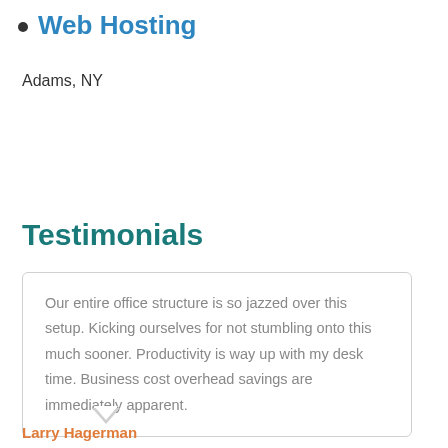Web Hosting
Adams, NY
Testimonials
Our entire office structure is so jazzed over this setup. Kicking ourselves for not stumbling onto this much sooner. Productivity is way up with my desk time. Business cost overhead savings are immediately apparent.
Larry Hagerman